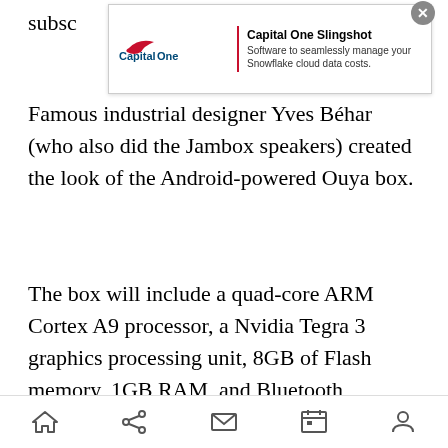subsc
[Figure (infographic): Capital One Software advertisement banner showing 'Capital One Slingshot - Software to seamlessly manage your Snowflake cloud data costs' with a close (X) button]
Famous industrial designer Yves Béhar (who also did the Jambox speakers) created the look of the Android-powered Ouya box.
The box will include a quad-core ARM Cortex A9 processor, a Nvidia Tegra 3 graphics processing unit, 8GB of Flash memory, 1GB RAM, and Bluetooth connectivity. The controller takes a cue from the upcoming Nintendo Wii U console: It can play traditional games but also has a touchpad. This means that developers can create special experiences for the Ouya console, Uhrman said. The company is seeking content such as role-playing games, shooters, and casual games
[Figure (infographic): Mobile browser navigation bar with home, share, mail, calendar, and profile icons]